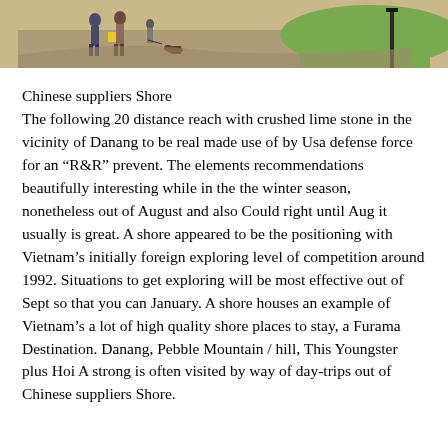[Figure (photo): Top portion of a photo showing people walking on a paved outdoor area with green lawn and lamp posts visible]
Chinese suppliers Shore
The following 20 distance reach with crushed lime stone in the vicinity of Danang to be real made use of by Usa defense force for an “R&R” prevent. The elements recommendations beautifully interesting while in the the winter season, nonetheless out of August and also Could right until Aug it usually is great. A shore appeared to be the positioning with Vietnam’s initially foreign exploring level of competition around 1992. Situations to get exploring will be most effective out of Sept so that you can January. A shore houses an example of Vietnam’s a lot of high quality shore places to stay, a Furama Destination. Danang, Pebble Mountain / hill, This Youngster plus Hoi A strong is often visited by way of day-trips out of Chinese suppliers Shore.